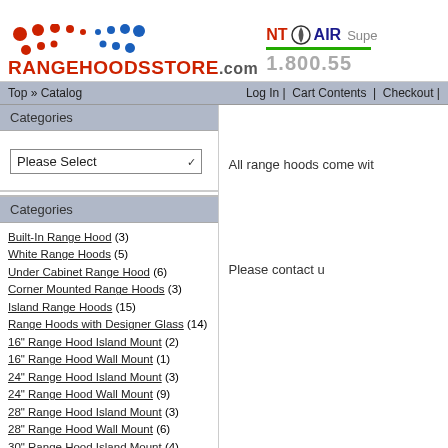[Figure (logo): RangeHoodsStore.com logo with colored dots and red text]
[Figure (logo): NT Air logo with 'Super' text and green bar, phone number 1.800.55]
Top » Catalog    Log In | Cart Contents | Checkout |
Categories
Please Select (dropdown)
Categories
Built-In Range Hood (3)
White Range Hoods (5)
Under Cabinet Range Hood (6)
Corner Mounted Range Hoods (3)
Island Range Hoods (15)
Range Hoods with Designer Glass (14)
16" Range Hood Island Mount (2)
16" Range Hood Wall Mount (1)
24" Range Hood Island Mount (3)
24" Range Hood Wall Mount (9)
28" Range Hood Island Mount (3)
28" Range Hood Wall Mount (6)
30" Range Hood Island Mount (4)
30" Range Hood Wall Mount (6)
36" Range Hood Island Mount (7)
36" Range Hood Wall Mount (18)
40" Range Hood Wall Mount (1)
42" Island Range Hoods (1)
42" Range Hood Wall Mount (1)
All range hoods come wit
Please contact u